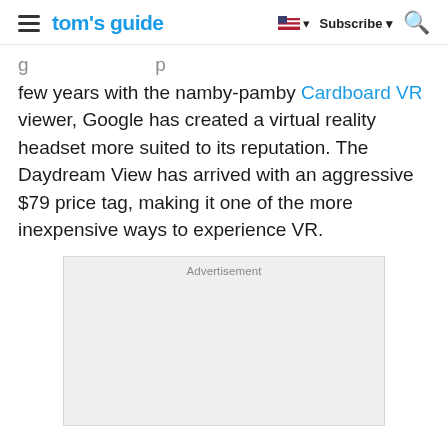tom's guide — Subscribe
few years with the namby-pamby Cardboard VR viewer, Google has created a virtual reality headset more suited to its reputation. The Daydream View has arrived with an aggressive $79 price tag, making it one of the more inexpensive ways to experience VR.
[Figure (other): Advertisement placeholder box with light gray background]